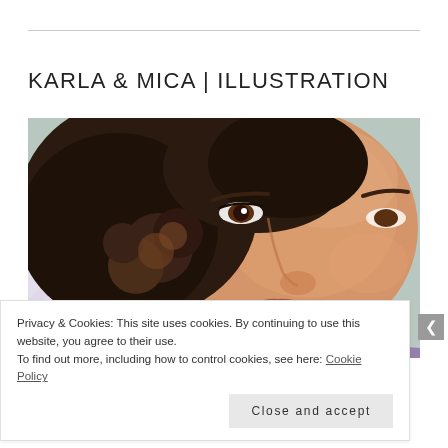KARLA & MICA | ILLUSTRATION
[Figure (illustration): A close-up painted portrait illustration of a smiling woman with dark curly hair, warm skin tones, wearing a purple garment. The style is realistic colored pencil or oil painting.]
Privacy & Cookies: This site uses cookies. By continuing to use this website, you agree to their use.
To find out more, including how to control cookies, see here: Cookie Policy
Close and accept